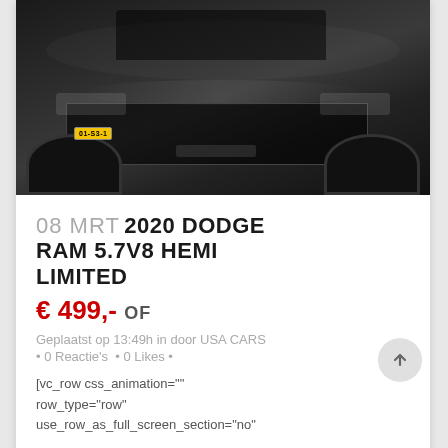[Figure (photo): Front view of a black 2020 Dodge RAM pickup truck parked on a brick surface, with a Dutch yellow license plate reading 01-S3-1]
08 MRT 2020 DODGE RAM 5.7V8 HEMI LIMITED
€ 499,- OF
Geplaatst op 13:49h in door USA CARS
• 0 Reactie's • 0 Likes •
[vc_row css_animation=""
row_type="row"
use_row_as_full_screen_section="no"